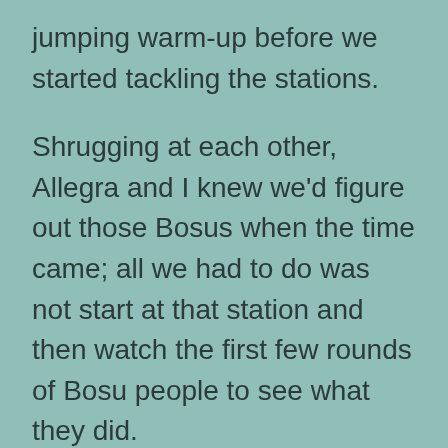jumping warm-up before we started tackling the stations.
Shrugging at each other, Allegra and I knew we'd figure out those Bosus when the time came; all we had to do was not start at that station and then watch the first few rounds of Bosu people to see what they did.
Except, well, each person did something different on the Bosus. Some jumped from Bosu to Bosu; others pulled out fancy footwork, a dizzying flurry of pounding and whacking. By the time we'd worked through a